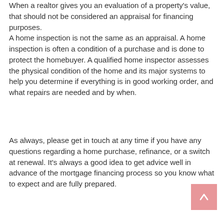When a realtor gives you an evaluation of a property's value, that should not be considered an appraisal for financing purposes. A home inspection is not the same as an appraisal. A home inspection is often a condition of a purchase and is done to protect the homebuyer. A qualified home inspector assesses the physical condition of the home and its major systems to help you determine if everything is in good working order, and what repairs are needed and by when.
As always, please get in touch at any time if you have any questions regarding a home purchase, refinance, or a switch at renewal. It's always a good idea to get advice well in advance of the mortgage financing process so you know what to expect and are fully prepared.